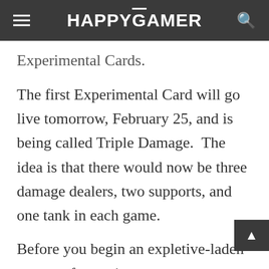HAPPYGAMER
Experimental Cards.
The first Experimental Card will go live tomorrow, February 25, and is being called Triple Damage.  The idea is that there would now be three damage dealers, two supports, and one tank in each game.
Before you begin an expletive-laden stream of consciousness commentary, this isn't planned on coming to the main game of Overwatch.  It's just a test to see what queue times would be